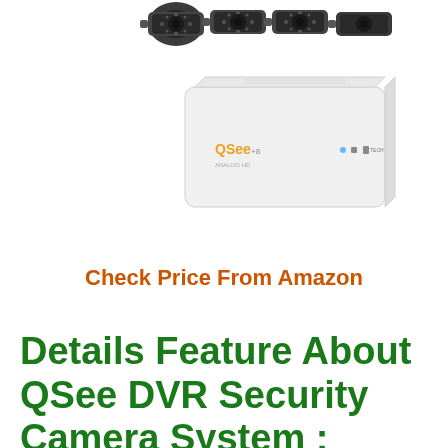[Figure (photo): Product photo showing four dark security cameras at top and a white QSee DVR box below them]
Check Price From Amazon
Details Feature About QSee DVR Security Camera System :